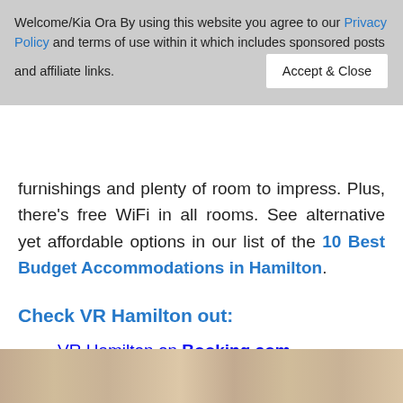Welcome/Kia Ora By using this website you agree to our Privacy Policy and terms of use within it which includes sponsored posts and affiliate links. [Accept & Close button]
furnishings and plenty of room to impress. Plus, there's free WiFi in all rooms. See alternative yet affordable options in our list of the 10 Best Budget Accommodations in Hamilton.
Check VR Hamilton out:
VR Hamilton on Booking.com
VR Hamilton on Trip.com
VR Hamilton on Expedia
[Figure (photo): Partial photo of a room interior at the bottom of the page, showing ceiling/wall area in beige/neutral tones]